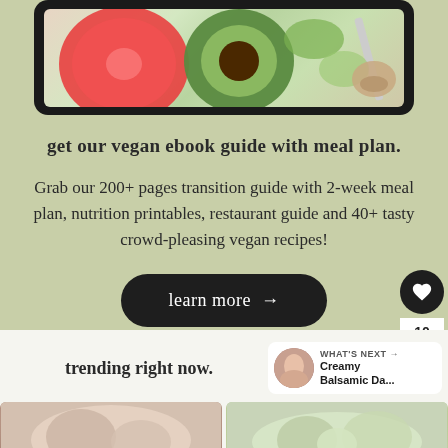[Figure (photo): Tablet device showing food/vegan meal image with avocado and tomato]
get our vegan ebook guide with meal plan.
Grab our 200+ pages transition guide with 2-week meal plan, nutrition printables, restaurant guide and 40+ tasty crowd-pleasing vegan recipes!
learn more →
trending right now.
WHAT'S NEXT → Creamy Balsamic Da...
[Figure (photo): Two food photos in trending section thumbnails]